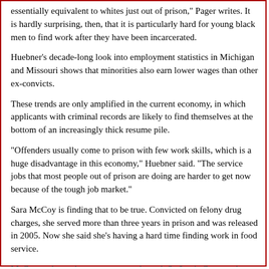essentially equivalent to whites just out of prison," Pager writes. It is hardly surprising, then, that it is particularly hard for young black men to find work after they have been incarcerated.
Huebner's decade-long look into employment statistics in Michigan and Missouri shows that minorities also earn lower wages than other ex-convicts.
These trends are only amplified in the current economy, in which applicants with criminal records are likely to find themselves at the bottom of an increasingly thick resume pile.
"Offenders usually come to prison with few work skills, which is a huge disadvantage in this economy," Huebner said. "The service jobs that most people out of prison are doing are harder to get now because of the tough job market."
Sara McCoy is finding that to be true. Convicted on felony drug charges, she served more than three years in prison and was released in 2005. Now she said she's having a hard time finding work in food service.
McCoy took part in a program run through St. Louis Community College that trains ex-offenders in the culinary arts and helps them with job placement. Right now, she is focused on finding volunteer